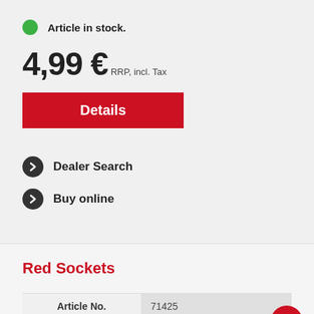Article in stock.
4,99 € RRP, incl. Tax
Details
Dealer Search
Buy online
Red Sockets
| Article No. | 71425 |
| --- | --- |
| Gauge | ---------- |